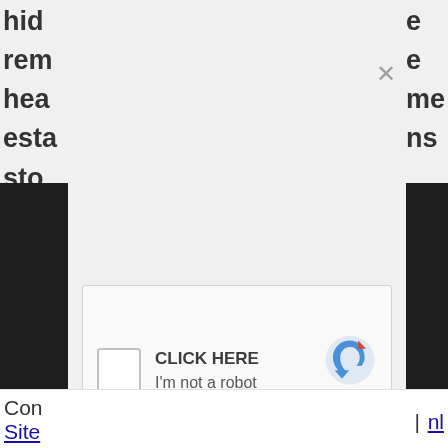hidr rem hea esta sto
e e me ns
[Figure (screenshot): reCAPTCHA widget with checkbox, 'CLICK HERE' text, 'I'm not a robot' label, reCAPTCHA logo, Privacy - Terms links, and X close button overlay on a gray modal background]
e
Con
Site
nl |